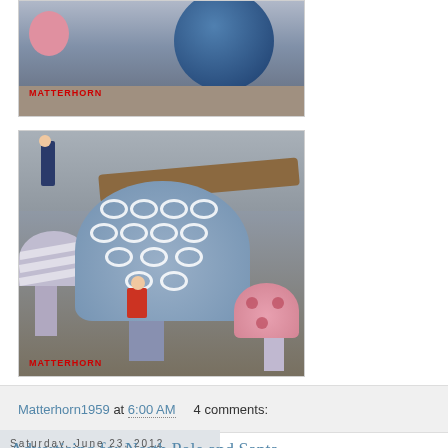[Figure (photo): Photo of amusement park ride equipment with a blue sphere and pink figure, 'MATTERHORN' text watermark in red at bottom left]
[Figure (photo): Photo of large decorative mushroom sculptures including a striped grey mushroom, a large blue mushroom with white swirl patterns, and a pink mushroom with dots. A child in red is partially hidden behind a mushroom. 'MATTERHORN' text watermark in red at bottom left.]
Matterhorn1959 at 6:00 AM     4 comments:
Saturday, June 23, 2012
Advertising for North Pole and Santa...